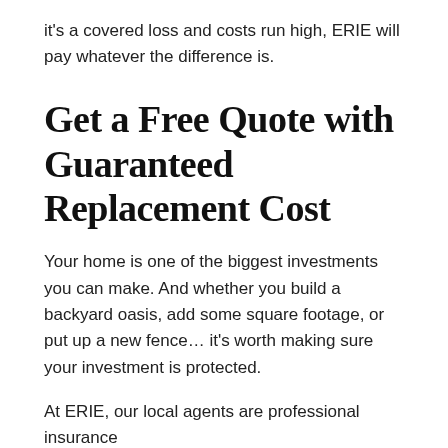it's a covered loss and costs run high, ERIE will pay whatever the difference is.
Get a Free Quote with Guaranteed Replacement Cost
Your home is one of the biggest investments you can make. And whether you build a backyard oasis, add some square footage, or put up a new fence… it's worth making sure your investment is protected.
At ERIE, our local agents are professional insurance